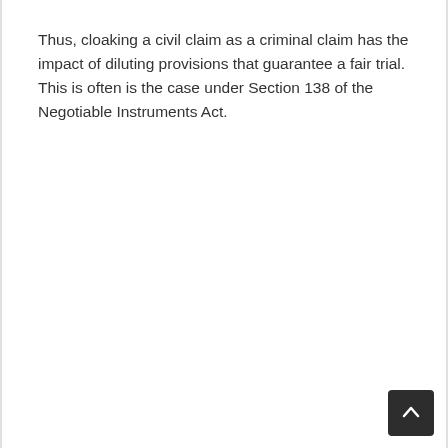Thus, cloaking a civil claim as a criminal claim has the impact of diluting provisions that guarantee a fair trial. This is often is the case under Section 138 of the Negotiable Instruments Act.